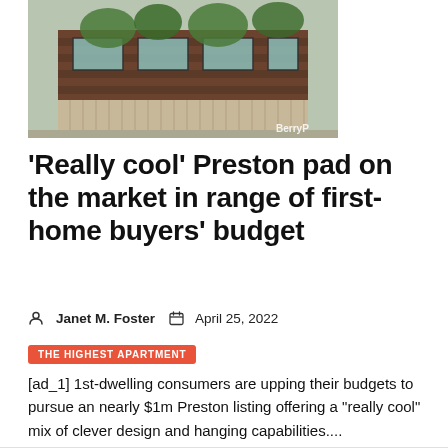[Figure (photo): Exterior photo of a modern townhouse in Preston with brick facade, timber vertical fence slats, and lush green vegetation. A watermark reading 'BerryP' is visible in the lower right corner.]
'Really cool' Preston pad on the market in range of first-home buyers' budget
Janet M. Foster   April 25, 2022
THE HIGHEST APARTMENT
[ad_1] 1st-dwelling consumers are upping their budgets to pursue an nearly $1m Preston listing offering a "really cool" mix of clever design and hanging capabilities....